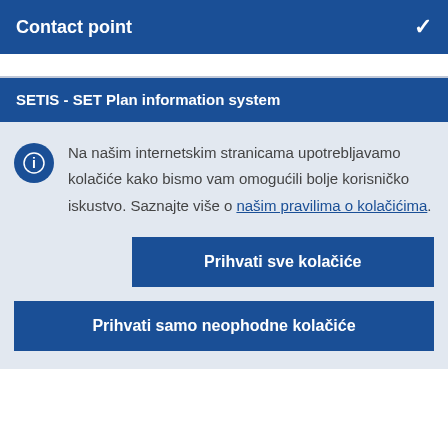Contact point
SETIS - SET Plan information system
Na našim internetskim stranicama upotrebljavamo kolačiće kako bismo vam omogućili bolje korisničko iskustvo. Saznajte više o našim pravilima o kolačićima.
Prihvati sve kolačiće
Prihvati samo neophodne kolačiće